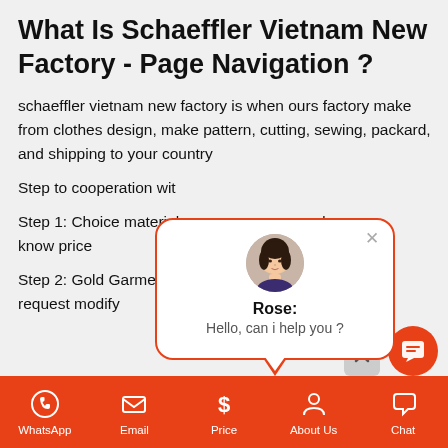What Is Schaeffler Vietnam New Factory - Page Navigation ?
schaeffler vietnam new factory is when ours factory make from clothes design, make pattern, cutting, sewing, packard, and shipping to your country
Step to cooperation wit
Step 1: Choice material nd know price
[Figure (screenshot): Chat popup with avatar photo of Rose, close button, and message: Hello, can i help you ?]
Step 2: Gold Garment will make sample, you will confirm or request modify
WhatsApp  Email  Price  About Us  Chat